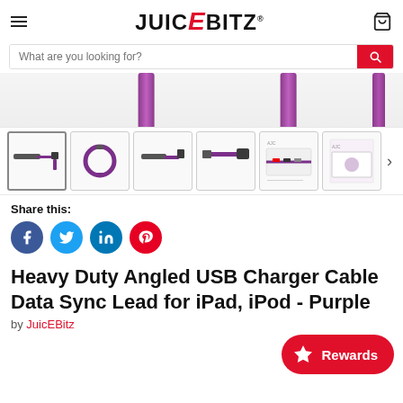[Figure (logo): JuicEBitz logo with red stylized E, hamburger menu on left, shopping cart icon on right]
[Figure (screenshot): Search bar with placeholder 'What are you looking for?' and red search button]
[Figure (photo): Product image thumbnails of Heavy Duty Angled USB Charger Cable in purple - showing cable coiled, angled connector, and packaging]
Share this:
[Figure (infographic): Social media share icons: Facebook (blue), Twitter (blue), LinkedIn (blue), Pinterest (red)]
Heavy Duty Angled USB Charger Cable Data Sync Lead for iPad, iPod - Purple
by JuicEBitz
[Figure (infographic): Red Rewards button with star icon]